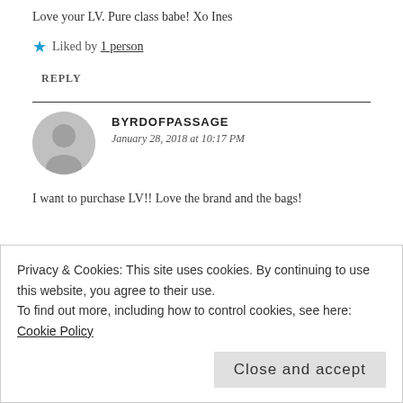Love your LV. Pure class babe! Xo Ines
Liked by 1 person
REPLY
[Figure (illustration): Gray circular avatar/profile placeholder icon with a silhouette of a person]
BYRDOFPASSAGE
January 28, 2018 at 10:17 PM
I want to purchase LV!! Love the brand and the bags!
Privacy & Cookies: This site uses cookies. By continuing to use this website, you agree to their use. To find out more, including how to control cookies, see here: Cookie Policy
Close and accept